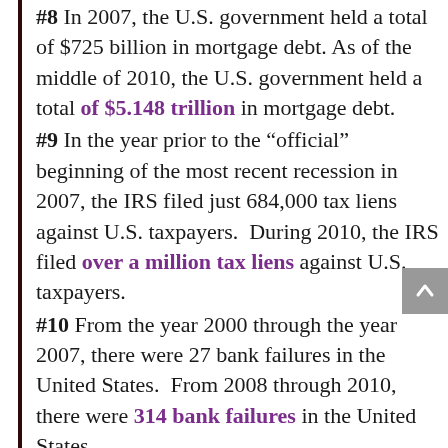#8 In 2007, the U.S. government held a total of $725 billion in mortgage debt. As of the middle of 2010, the U.S. government held a total of $5.148 trillion in mortgage debt.
#9 In the year prior to the “official” beginning of the most recent recession in 2007, the IRS filed just 684,000 tax liens against U.S. taxpayers. During 2010, the IRS filed over a million tax liens against U.S. taxpayers.
#10 From the year 2000 through the year 2007, there were 27 bank failures in the United States. From 2008 through 2010, there were 314 bank failures in the United States.
#11 According to the U.S. Department of Housing and Urban Development, the